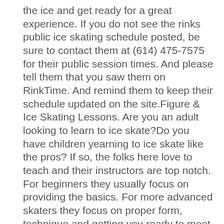the ice and get ready for a great experience. If you do not see the rinks public ice skating schedule posted, be sure to contact them at (614) 475-7575 for their public session times. And please tell them that you saw them on RinkTime. And remind them to keep their schedule updated on the site.Figure & Ice Skating Lessons. Are you an adult looking to learn to ice skate?Do you have children yearning to ice skate like the pros? If so, the folks here love to teach and their instructors are top notch. For beginners they usually focus on providing the basics. For more advanced skaters they focus on proper form, technique and getting you ready to meet your goals. Call